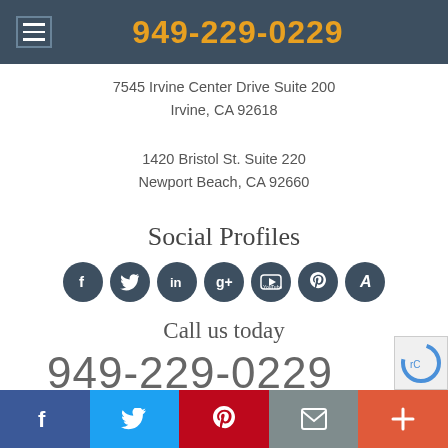949-229-0229
7545 Irvine Center Drive Suite 200
Irvine, CA 92618
1420 Bristol St. Suite 220
Newport Beach, CA 92660
Social Profiles
[Figure (infographic): Row of 7 dark circular social media icon buttons: Facebook, Twitter, LinkedIn, Google+, YouTube, Pinterest, Angieslist]
Call us today
949-229-0229
Social share bar with Facebook, Twitter, Pinterest, Email, and More (+) buttons